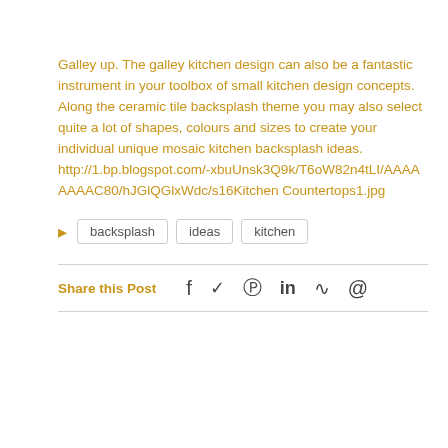Galley up. The galley kitchen design can also be a fantastic instrument in your toolbox of small kitchen design concepts. Along the ceramic tile backsplash theme you may also select quite a lot of shapes, colours and sizes to create your individual unique mosaic kitchen backsplash ideas.
http://1.bp.blogspot.com/-xbuUnsk3Q9k/T6oW82n4tLI/AAAAAAAAC80/hJGlQGlxWdc/s16Kitchen Countertops1.jpg
backsplash
ideas
kitchen
Share this Post